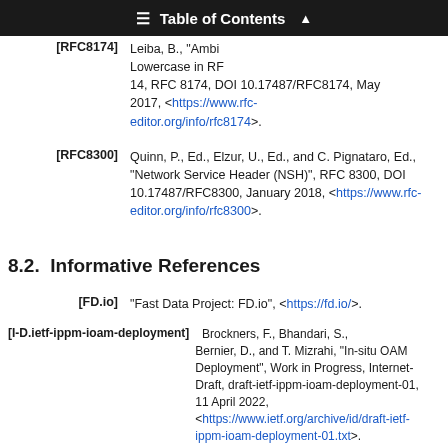[RFC8174] Leiba, B., "Ambiguity of Uppercase vs Lowercase in RFC 2119 Key Words", BCP 14, RFC 8174, DOI 10.17487/RFC8174, May 2017, <https://www.rfc-editor.org/info/rfc8174>.
[RFC8300] Quinn, P., Ed., Elzur, U., Ed., and C. Pignataro, Ed., "Network Service Header (NSH)", RFC 8300, DOI 10.17487/RFC8300, January 2018, <https://www.rfc-editor.org/info/rfc8300>.
8.2.  Informative References
[FD.io] "Fast Data Project: FD.io", <https://fd.io/>.
[I-D.ietf-ippm-ioam-deployment] Brockners, F., Bhandari, S., Bernier, D., and T. Mizrahi, "In-situ OAM Deployment", Work in Progress, Internet-Draft, draft-ietf-ippm-ioam-deployment-01, 11 April 2022, <https://www.ietf.org/archive/id/draft-ietf-ippm-ioam-deployment-01.txt>.